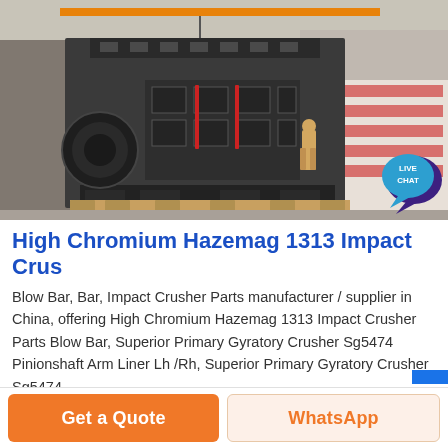[Figure (photo): Large industrial impact crusher machine (Hazemag 1313) on a factory floor, with a worker standing nearby and packaged goods in the background. Industrial warehouse setting with overhead crane visible.]
High Chromium Hazemag 1313 Impact Crus
Blow Bar, Bar, Impact Crusher Parts manufacturer / supplier in China, offering High Chromium Hazemag 1313 Impact Crusher Parts Blow Bar, Superior Primary Gyratory Crusher Sg5474 Pinionshaft Arm Liner Lh /Rh, Superior Primary Gyratory Crusher Sg5474…